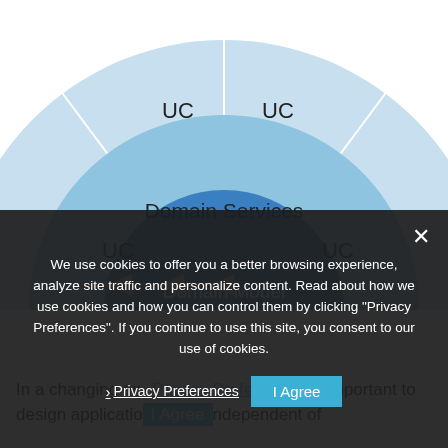[Figure (other): Concentric ring architecture diagram showing Domain Model at center (dark blue circle), surrounded by Domain Services ring (medium blue), then an outer ring divided into UC sections (light blue). Three horizontal arrows point from left toward the center. UC labels appear in the top-left, top-right, left, right, bottom-left, and bottom-right sections of the outer ring.]
We use cookies to offer you a better browsing experience, analyze site traffic and personalize content. Read about how we use cookies and how you can control them by clicking "Privacy Preferences". If you continue to use this site, you consent to our use of cookies.
Privacy Preferences
I Agree
In a changing en› Privacy Preferences is important to design applicatio I Agree ndependent of